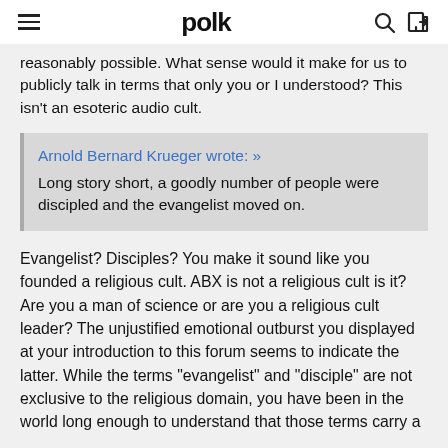polk
reasonably possible. What sense would it make for us to publicly talk in terms that only you or I understood? This isn't an esoteric audio cult.
Arnold Bernard Krueger wrote: »
Long story short, a goodly number of people were discipled and the evangelist moved on.
Evangelist? Disciples? You make it sound like you founded a religious cult. ABX is not a religious cult is it? Are you a man of science or are you a religious cult leader? The unjustified emotional outburst you displayed at your introduction to this forum seems to indicate the latter. While the terms "evangelist" and "disciple" are not exclusive to the religious domain, you have been in the world long enough to understand that those terms carry a strongly religious connotation. The adult thing is that...